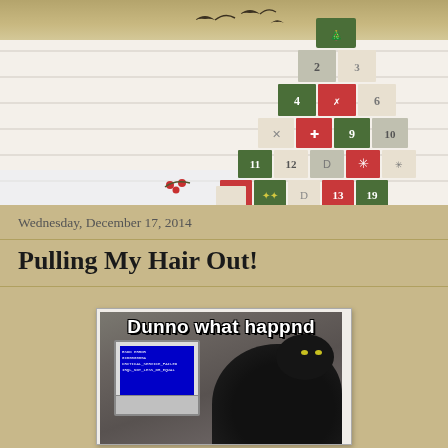[Figure (photo): Blog header image with white wood plank background, bird silhouettes at the top, and a Christmas advent calendar made of numbered boxes arranged in a tree shape on the right side]
Wednesday, December 17, 2014
Pulling My Hair Out!
[Figure (photo): Internet meme image of black cats near a computer showing a blue screen of death (BSOD), with white bold text caption reading 'Dunno what happnd']